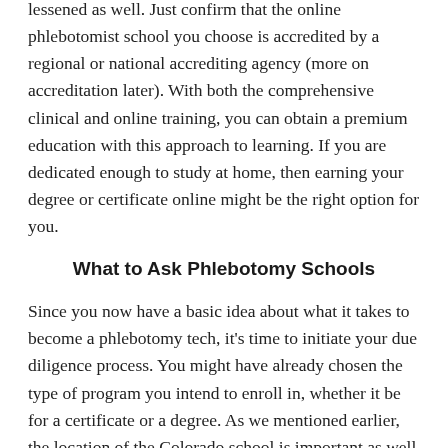lessened as well. Just confirm that the online phlebotomist school you choose is accredited by a regional or national accrediting agency (more on accreditation later). With both the comprehensive clinical and online training, you can obtain a premium education with this approach to learning. If you are dedicated enough to study at home, then earning your degree or certificate online might be the right option for you.
What to Ask Phlebotomy Schools
Since you now have a basic idea about what it takes to become a phlebotomy tech, it's time to initiate your due diligence process. You might have already chosen the type of program you intend to enroll in, whether it be for a certificate or a degree. As we mentioned earlier, the location of the Colorado school is important as well as the cost of tuition. Perhaps you have opted to enroll in an phlebotomy online program. All of these decisions are a critical part of the